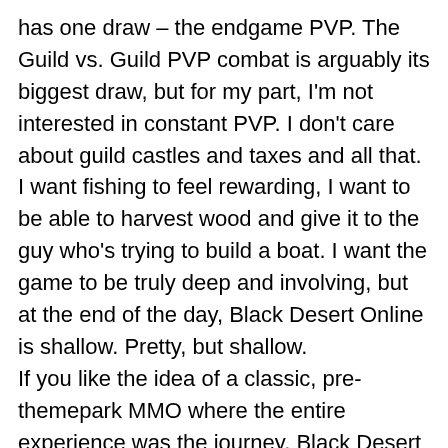has one draw – the endgame PVP.  The Guild vs. Guild PVP combat is arguably its biggest draw, but for my part, I'm not interested in constant PVP.  I don't care about guild castles and taxes and all that.  I want fishing to feel rewarding, I want to be able to harvest wood and give it to the guy who's trying to build a boat.  I want the game to be truly deep and involving, but at the end of the day, Black Desert Online is shallow.  Pretty, but shallow.
If you like the idea of a classic, pre-themepark MMO where the entire experience was the journey, Black Desert might appeal to you.  Otherwise, it's not nearly as immersive and engaging as it first seems.
Recommended?: NO
ChaosD1:
I would not go as far as saying I was dreading this game,